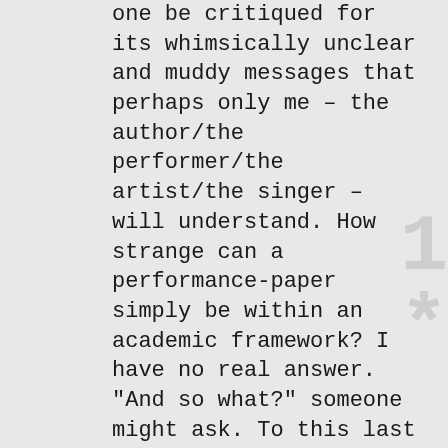one be critiqued for its whimsically unclear and muddy messages that perhaps only me – the author/the performer/the artist/the singer – will understand. How strange can a performance-paper simply be within an academic framework? I have no real answer. "And so what?" someone might ask. To this last question. To that I have an answer.
I have become an activist. For the purpose of Trust. And with these words I conclude, transform and begin....
Suomenlinna, June 2015
Eli